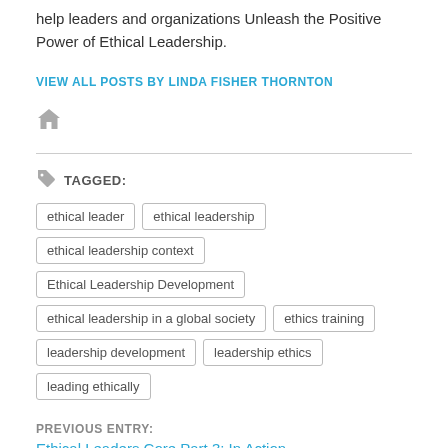help leaders and organizations Unleash the Positive Power of Ethical Leadership.
VIEW ALL POSTS BY LINDA FISHER THORNTON
[Figure (other): Home icon (house symbol) in gray]
TAGGED:
ethical leader
ethical leadership
ethical leadership context
Ethical Leadership Development
ethical leadership in a global society
ethics training
leadership development
leadership ethics
leading ethically
PREVIOUS ENTRY:
Ethical Leaders Core Part 3: In Action